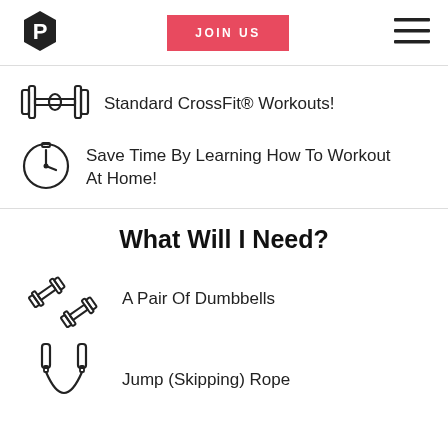[Figure (logo): Black hexagon logo with letter P]
[Figure (illustration): Red JOIN US button]
[Figure (illustration): Hamburger menu icon]
Standard CrossFit® Workouts!
Save Time By Learning How To Workout At Home!
What Will I Need?
A Pair Of Dumbbells
Jump (Skipping) Rope